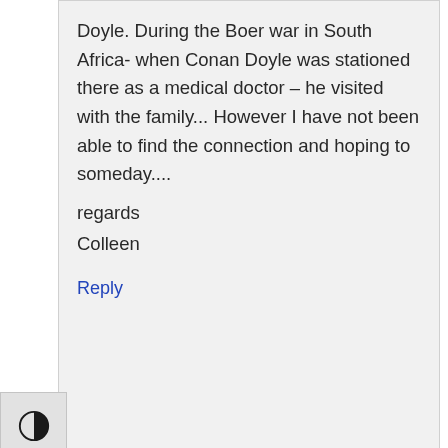Doyle. During the Boer war in South Africa- when Conan Doyle was stationed there as a medical doctor – he visited with the family... However I have not been able to find the connection and hoping to someday....

regards
Colleen
Reply
[Figure (other): Contrast toggle button (half-filled circle icon) on left sidebar]
[Figure (other): Text size toggle button (tT icon) on left sidebar]
Leave a Reply
Your email address will not be published. Required fields